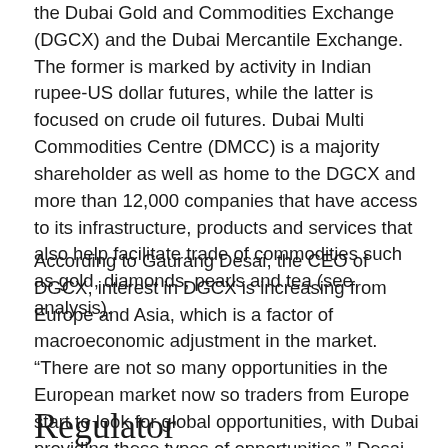the Dubai Gold and Commodities Exchange (DGCX) and the Dubai Mercantile Exchange. The former is marked by activity in Indian rupee-US dollar futures, while the latter is focused on crude oil futures. Dubai Multi Commodities Centre (DMCC) is a majority shareholder as well as home to the DGCX and more than 12,000 companies that have access to its infrastructure, products and services that also help facilitate trade of commodities such as gold, diamonds, pearls and tea (see analysis).
According to Gaurang Desai, the CEO of DGCX, interest in DGCX is increasing from Europe and Asia, which is a factor of macroeconomic adjustment in the market. “There are not so many opportunities in the European market now so traders from Europe start to look for global opportunities, with Dubai providing these types of opportunities,” Desai told OBG. “The emirate will remain the regional centre for commodity trading thanks to the ease of doing business, location and quality of infrastructure it offers.”
Regulator